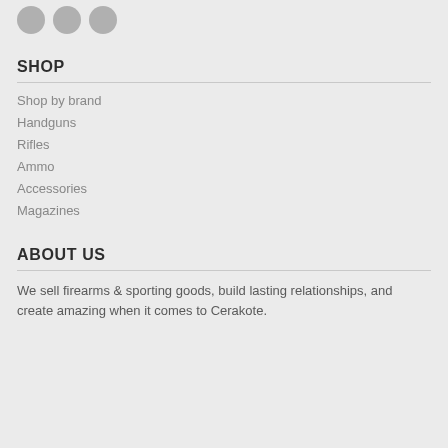[Figure (other): Three social media icon circles (partially visible at top)]
SHOP
Shop by brand
Handguns
Rifles
Ammo
Accessories
Magazines
ABOUT US
We sell firearms & sporting goods, build lasting relationships, and create amazing when it comes to Cerakote.